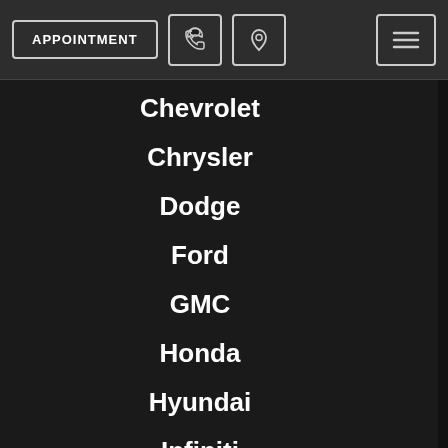APPOINTMENT [phone icon] [location icon] [menu icon]
Chevrolet
Chrysler
Dodge
Ford
GMC
Honda
Hyundai
Infiniti
Jeep
Kia
Land Rover